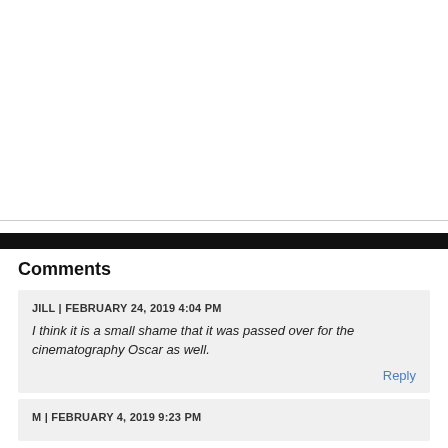Comments
JILL | FEBRUARY 24, 2019 4:04 PM
I think it is a small shame that it was passed over for the cinematography Oscar as well.
Reply
M | FEBRUARY 4, 2019 9:23 PM